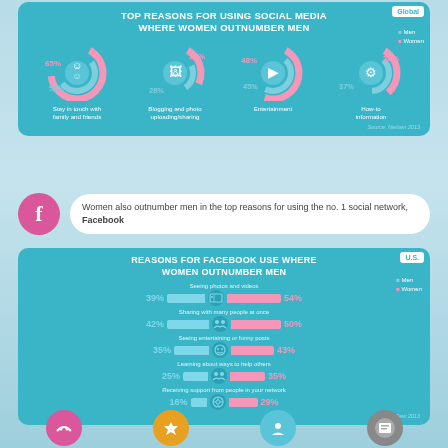[Figure (donut-chart): TOP REASONS FOR USING SOCIAL MEDIA WHERE WOMEN OUTNUMBER MEN]
Source: Nielsen 2013
Women also outnumber men in the top reasons for using the no. 1 social network, Facebook
[Figure (bar-chart): REASONS FOR FACEBOOK USE WHERE WOMEN OUTNUMBER MEN]
Source: Pew 2013